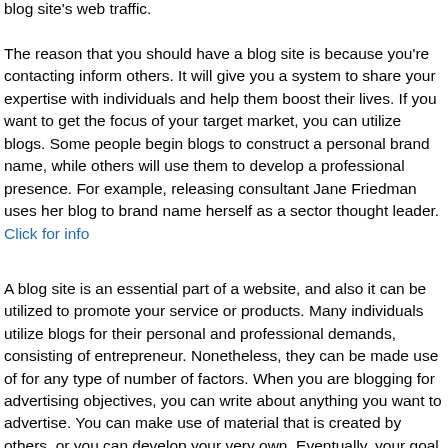blog site's web traffic. The reason that you should have a blog site is because you're contacting inform others. It will give you a system to share your expertise with individuals and help them boost their lives. If you want to get the focus of your target market, you can utilize blogs. Some people begin blogs to construct a personal brand name, while others will use them to develop a professional presence. For example, releasing consultant Jane Friedman uses her blog to brand name herself as a sector thought leader. Click for info
A blog site is an essential part of a website, and also it can be utilized to promote your service or products. Many individuals utilize blogs for their personal and professional demands, consisting of entrepreneur. Nonetheless, they can be made use of for any type of number of factors. When you are blogging for advertising objectives, you can write about anything you want to advertise. You can make use of material that is created by others, or you can develop your very own. Eventually, your goal is to share knowledge with your audience.